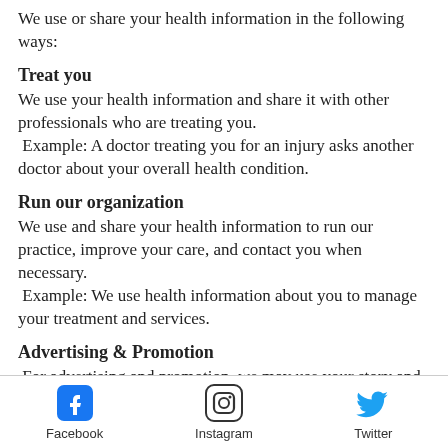We use or share your health information in the following ways:
Treat you
We use your health information and share it with other professionals who are treating you.
 Example: A doctor treating you for an injury asks another doctor about your overall health condition.
Run our organization
We use and share your health information to run our practice, improve your care, and contact you when necessary.
 Example: We use health information about you to manage your treatment and services.
Advertising & Promotion
For advertising and promotion, we may use your story and ultrasound images with all identifying information removed or de-
Facebook   Instagram   Twitter